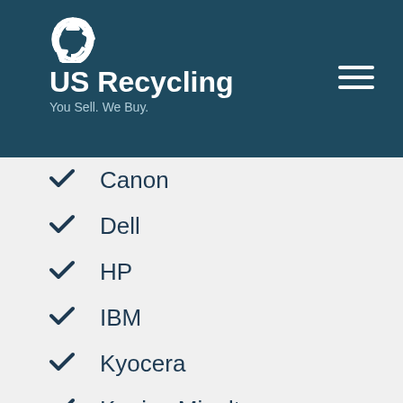[Figure (logo): US Recycling logo with recycling symbol icon, brand name 'US Recycling', and tagline 'You Sell. We Buy.' on dark teal background, with hamburger menu icon on the right]
Canon
Dell
HP
IBM
Kyocera
Konica Minolta
Lanier
Lexmark